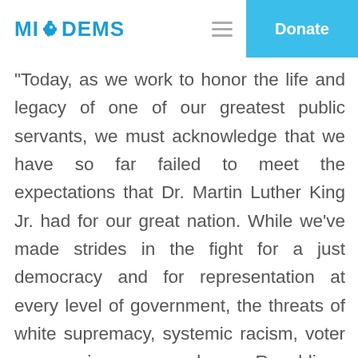MI DEMS | Donate
" Today, as we work to honor the life and legacy of one of our greatest public servants, we must acknowledge that we have so far failed to meet the expectations that Dr. Martin Luther King Jr. had for our great nation. While we've made strides in the fight for a just democracy and for representation at every level of government, the threats of white supremacy, systemic racism, voter suppression, and Republican obstructionism still remain.